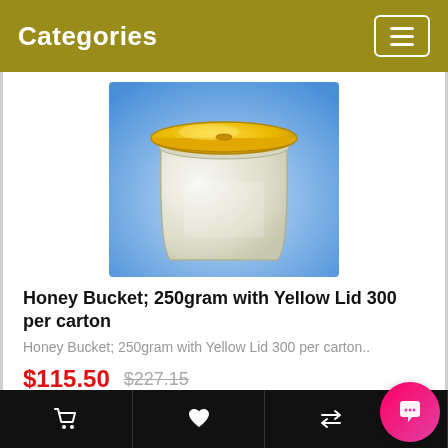Categories
[Figure (photo): A clear plastic honey bucket/container with a yellow lid, shown on a blue gradient background.]
Honey Bucket; 250gram with Yellow Lid 300 per carton
Honey Bucket; 250gram with Yellow Lid 300 per carton..
$115.50  $227.15